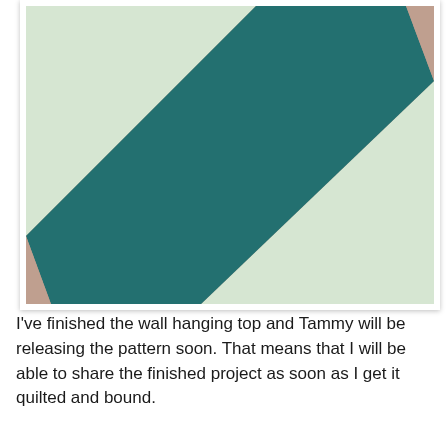[Figure (photo): Close-up photo of quilt fabric showing a teal/dark cyan diagonal stripe across a light mint/cream background fabric, pinned to a cork board surface visible in the upper right corner.]
I've finished the wall hanging top and Tammy will be releasing the pattern soon. That means that I will be able to share the finished project as soon as I get it quilted and bound.